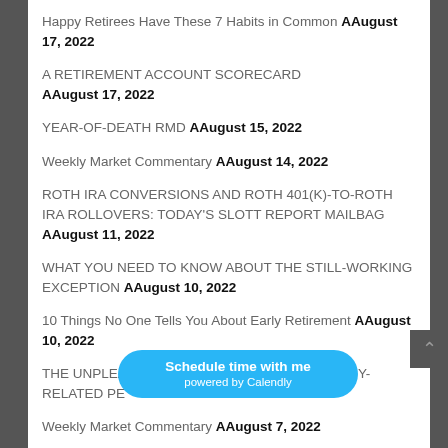Happy Retirees Have These 7 Habits in Common AAugust 17, 2022
A RETIREMENT ACCOUNT SCORECARD AAugust 17, 2022
YEAR-OF-DEATH RMD AAugust 15, 2022
Weekly Market Commentary AAugust 14, 2022
ROTH IRA CONVERSIONS AND ROTH 401(K)-TO-ROTH IRA ROLLOVERS: TODAY'S SLOTT REPORT MAILBAG AAugust 11, 2022
WHAT YOU NEED TO KNOW ABOUT THE STILL-WORKING EXCEPTION AAugust 10, 2022
10 Things No One Tells You About Early Retirement AAugust 10, 2022
THE UNPLEASANT SURPRISE OF THE ACCURACY-RELATED PE…
Weekly Market Commentary AAugust 7, 2022